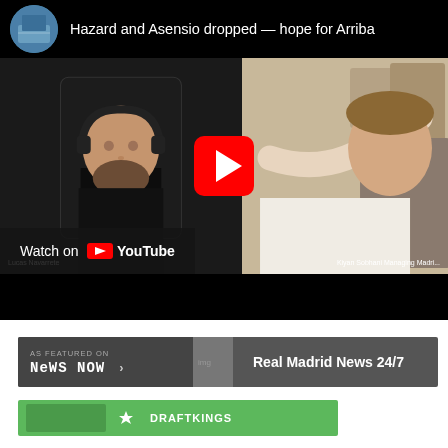[Figure (screenshot): YouTube video embed showing two people in a video call discussion. Left person is a bald man with a beard wearing a black shirt, seated in a gaming chair with headphones. Right person is partially visible. A red YouTube play button is centered. The video header shows 'Hazard and Asensio dropped – hope for Arriba' with a circular avatar. A 'Watch on YouTube' bar is at the bottom left. Name tags show 'Lucas Navarrete' on the left and 'Kiyan Sobhani Managing Madri...' on the right.]
[Figure (screenshot): News Now banner - dark grey bar showing 'AS FEATURED ON NEWS NOW >' on the left side and 'Real Madrid News 24/7' on the right side.]
[Figure (screenshot): Green DraftKings promotional banner partially visible at the bottom of the page.]